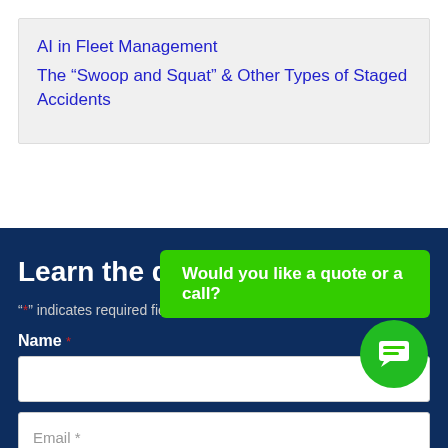AI in Fleet Management
The “Swoop and Squat” & Other Types of Staged Accidents
Learn the difference!
“*” indicates required fields
Name *
Email *
Would you like a quote or a call?